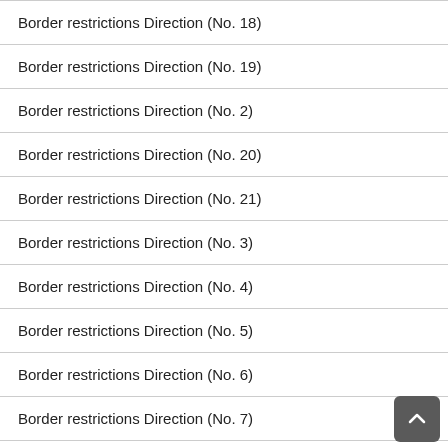Border restrictions Direction (No. 18)
Border restrictions Direction (No. 19)
Border restrictions Direction (No. 2)
Border restrictions Direction (No. 20)
Border restrictions Direction (No. 21)
Border restrictions Direction (No. 3)
Border restrictions Direction (No. 4)
Border restrictions Direction (No. 5)
Border restrictions Direction (No. 6)
Border restrictions Direction (No. 7)